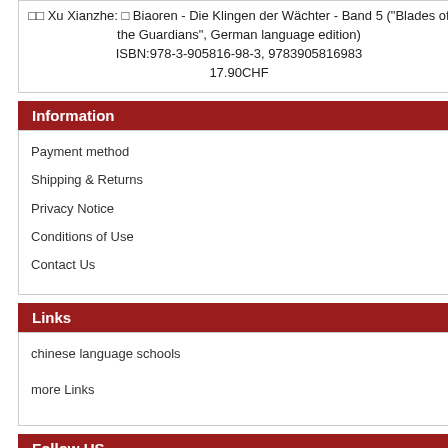Xu Xianzhe: Biaoren - Die Klingen der Wächter - Band 5 ("Blades of the Guardians", German language edition) ISBN:978-3-905816-98-3, 9783905816983 17.90CHF
Information
Payment method
Shipping & Returns
Privacy Notice
Conditions of Use
Contact Us
Links
chinese language schools
more Links
Follow US